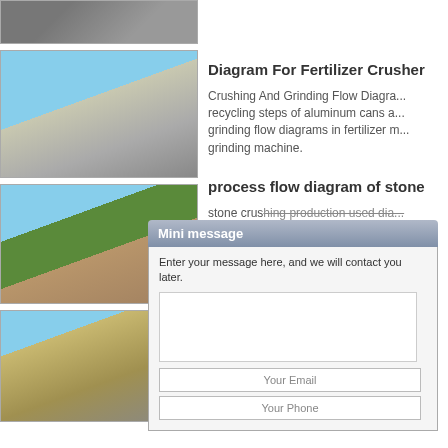[Figure (photo): Top cropped photo of machinery/equipment]
[Figure (photo): Large mobile stone crusher machine against blue sky]
[Figure (photo): Excavator and stone crushing equipment at quarry site]
[Figure (photo): Open quarry site with blue crushing machinery]
Diagram For Fertilizer Crusher
Crushing And Grinding Flow Diagra... recycling steps of aluminum cans a... grinding flow diagrams in fertilizer m... grinding machine.
process flow diagram of stone
stone crushing production used dia... fertilizer i... Ma... manufactu... process flow chart... c... the manuf...
crushing                                                lia
crushing a...                                          di... and grinding of soil what is the diffe... and crush...                                     hin... and mineral and for coal